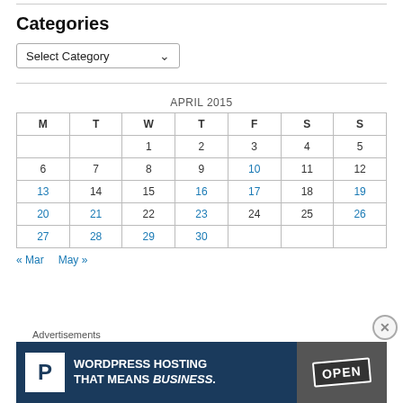Categories
Select Category
| M | T | W | T | F | S | S |
| --- | --- | --- | --- | --- | --- | --- |
|  |  | 1 | 2 | 3 | 4 | 5 |
| 6 | 7 | 8 | 9 | 10 | 11 | 12 |
| 13 | 14 | 15 | 16 | 17 | 18 | 19 |
| 20 | 21 | 22 | 23 | 24 | 25 | 26 |
| 27 | 28 | 29 | 30 |  |  |  |
« Mar   May »
Advertisements
[Figure (infographic): WordPress Hosting That Means Business advertisement banner with P logo and OPEN sign image]